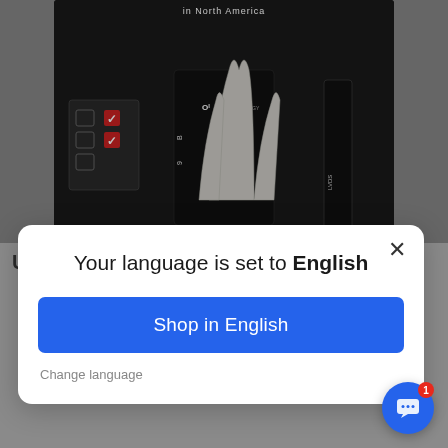[Figure (screenshot): Website background showing a product image with fingers/hand against dark background, and large uppercase text below reading 'YOUR CAR LIKE USE BY SMART PHONE.' with red text starting at bottom]
Your language is set to English
Shop in English
Change language
Hi there! How can we help you? Tap here to start chat with us.